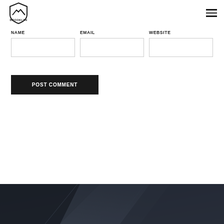[Figure (logo): Brooklyn logo — shield shape with mountain/roof outline and text BROOKLYN below, in dark color]
[Figure (other): Hamburger menu icon — three horizontal dark lines stacked vertically]
NAME
EMAIL
WEBSITE
POST COMMENT
[Figure (photo): Dark graphite/carbon fiber textured footer background with diagonal line accents in dark grey and near-black tones]